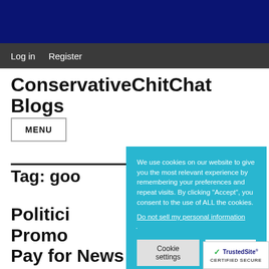Log in  Register
ConservativeChitChat Blogs
MENU
Tag: goo
Politi Promo Pay for News Content
We use cookies on our website to give you the most relevant experience by remembering your preferences and repeat visits. By clicking “Accept”, you consent to the use of ALL the cookies.
Do not sell my personal information.
Cookie settings  ACCEPT
[Figure (logo): TrustedSite CERTIFIED SECURE badge with green checkmark]